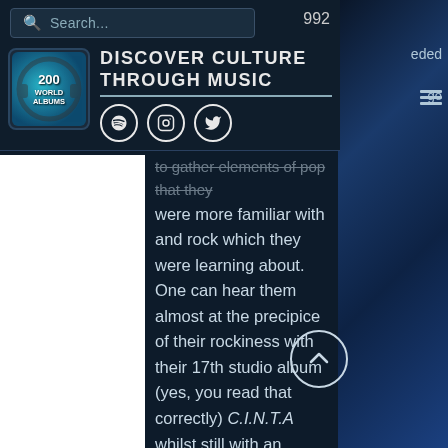992
[Figure (screenshot): Website header with search bar, 200 World Albums logo, 'Discover Culture Through Music' title, and social media icons (Spotify, Instagram, Twitter)]
to gather elements of pop that they were more familiar with and rock which they were learning about. One can hear them almost at the precipice of their rockiness with their 17th studio album (yes, you read that correctly) C.I.N.T.A whilst still with an obvious ear for a good poppy tune. The peak of the album is the opening track and title song C.I.N.T.A which is a banger of the highest order. The song begins with some epic guitar riffs, soon accompanied by Arumugam's great vocals and then even features a